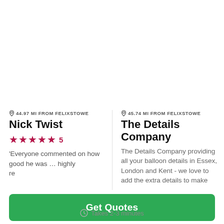44.97 MI FROM FELIXSTOWE
Nick Twist
★★★★★ 5
'Everyone commented on how good he was ... highly re...
45.74 MI FROM FELIXSTOWE
The Details Company
The Details Company providing all your balloon details in Essex, London and Kent - we love to add the extra details to make
Get Quotes
Takes 2-3 minutes